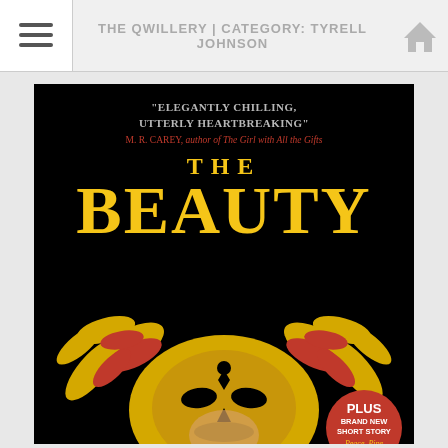THE QWILLERY | CATEGORY: TYRELL JOHNSON
[Figure (illustration): Book cover for 'The Beauty' on a black background. Top has quote 'ELEGANTLY CHILLING, UTTERLY HEARTBREAKING' attributed to M. R. Carey, author of The Girl with All the Gifts. Large yellow title 'THE BEAUTY'. Center image shows a stylized yellow and red floral/creature mask over a human face. Bottom right has a red circular badge reading 'PLUS BRAND NEW SHORT STORY Peace, Pipe'.]